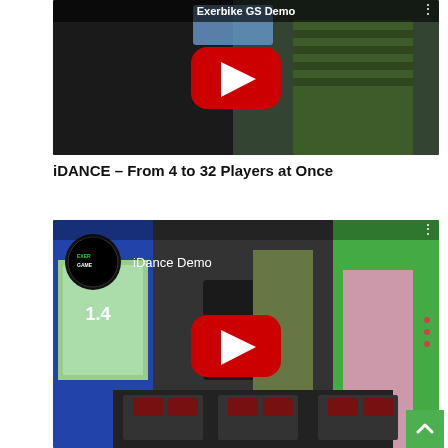[Figure (screenshot): YouTube video thumbnail for 'Exerbike GS Demo' showing people on exercise bikes in a dark room with a YouTube play button overlay]
iDANCE – From 4 to 32 Players at Once
[Figure (screenshot): YouTube video thumbnail for 'iDance Demo' showing a girl dancing on dance pads in a room with a large screen and a YouTube play button overlay]